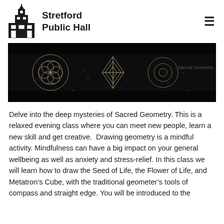Stretford Public Hall
[Figure (photo): Dark banner image with sacred geometry designs (circles, diamonds, geometric patterns) lit against a black background, resembling a stage or display backdrop.]
Delve into the deep mysteries of Sacred Geometry. This is a relaxed evening class where you can meet new people, learn a new skill and get creative.  Drawing geometry is a mindful activity. Mindfulness can have a big impact on your general wellbeing as well as anxiety and stress-relief. In this class we will learn how to draw the Seed of Life, the Flower of Life, and Metatron's Cube, with the traditional geometer's tools of compass and straight edge. You will be introduced to the